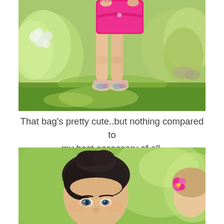[Figure (photo): Outdoor photo showing person's legs from knees down, holding a bright pink/fuchsia structured handbag, wearing decorative flat shoes, standing on green grass with garden plants and white flowers in background]
That bag’s pretty cute..but nothing compared to my best accessory of all.
[Figure (photo): Close-up outdoor photo showing a young woman with dark curly hair pinned up, looking toward camera, with another person visible at right edge wearing a pink flower accessory in their hair, green foliage background]